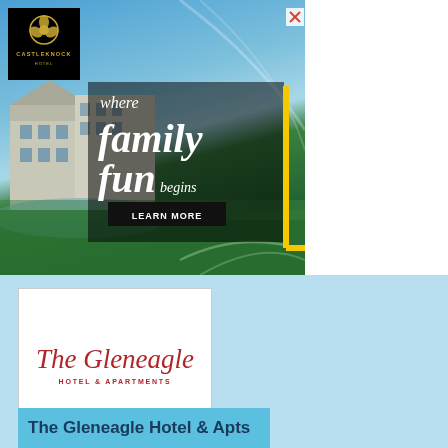[Figure (illustration): Castleknock Hotel advertisement banner showing hotel building exterior with lake, blue sky, curved road lines, yellow L-bracket accent. Text overlay: 'where family fun begins' with LEARN MORE button. Castleknock Hotel logo in top-left corner. Close X button top-right.]
[Figure (logo): The Gleneagle Hotel & Apartments logo — red cursive script 'The Gleneagle' with 'HOTEL & APARTMENTS' in small red capitals underneath, on white background inside light-blue box.]
The Gleneagle Hotel & Apts